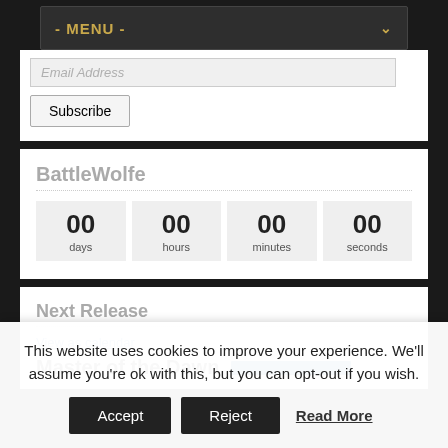- MENU -
Email Address
Subscribe
BattleWolfe
00 days  00 hours  00 minutes  00 seconds
Next Release
View as calendar
Master of the Dawn
This website uses cookies to improve your experience. We'll assume you're ok with this, but you can opt-out if you wish.
Accept  Reject  Read More